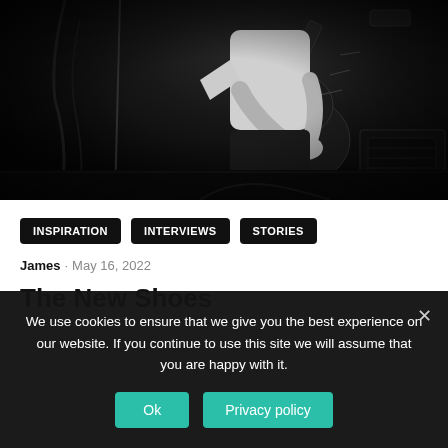[Figure (photo): Black and white photo of a guitarist playing an electric guitar on stage, with amplifiers and cables visible in the background.]
INSPIRATION
INTERVIEWS
STORIES
James · May 16, 2022
The New Shoes
We use cookies to ensure that we give you the best experience on our website. If you continue to use this site we will assume that you are happy with it.